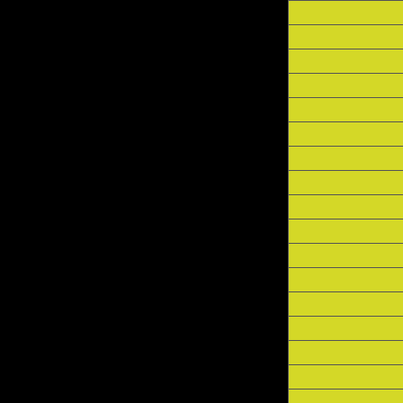| Date |  | Artist |
| --- | --- | --- |
| Sun 9/5/99 |  | Suzy Cates, The [Greed...] |
| Mon 9/6/99 |  | 20 Drag Queens |
| Mon 9/6/99 |  | Lu Read |
| Mon 9/6/99 |  | Mc Lee Crow & Heklina |
| Tue 9/7/99 |  | Church Steps, The |
| Tue 9/7/99 |  | Damsels, The |
| Tue 9/7/99 |  | Sounds Of The Barbary Co... |
| Wed 9/8/99 |  | Hammerlock |
| Wed 9/8/99 |  | Midnight Laserbeam |
| Wed 9/8/99 |  | Papa Roach |
| Thu 9/9/99 |  | Curbside Journal |
| Thu 9/9/99 |  | Kindness |
| Thu 9/9/99 |  | Method Engine |
| Fri 9/10/99 |  | Clone |
| Fri 9/10/99 |  | otherstarpeople |
| Fri 9/10/99 |  | Queens Of The Stone Age |
| Sat 9/11/99 |  | Fred Frith, Chris Cutler & T... |
| Sat 9/11/99 |  | O-Type |
| Sat 9/11/99 |  | Species Being |
| Sat 9/11/99 |  | Wet Gut... |